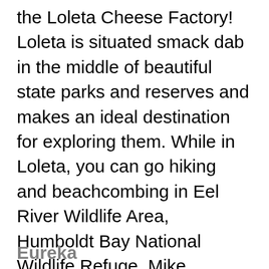the Loleta Cheese Factory! Loleta is situated smack dab in the middle of beautiful state parks and reserves and makes an ideal destination for exploring them. While in Loleta, you can go hiking and beachcombing in Eel River Wildlife Area, Humboldt Bay National Wildlife Refuge, Mike Thompson Wildlife Area, or Table Bluff County Park. The Cheese Factory is now, however, closed and can't be visited.
Eureka